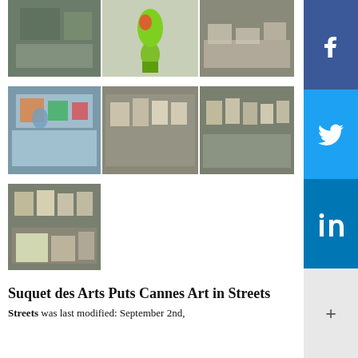[Figure (photo): Three photos in a row: outdoor art scene with chalk drawings on ground, green sculpture with heart, and people sitting at tables]
[Figure (photo): Three photos in a row: children painting at a table, outdoor art display against stone wall, and more art displayed outdoors]
[Figure (photo): Single photo: framed artworks displayed on ground against a wall]
Suquet des Arts Puts Cannes Art in Streets
was last modified: September 2nd,